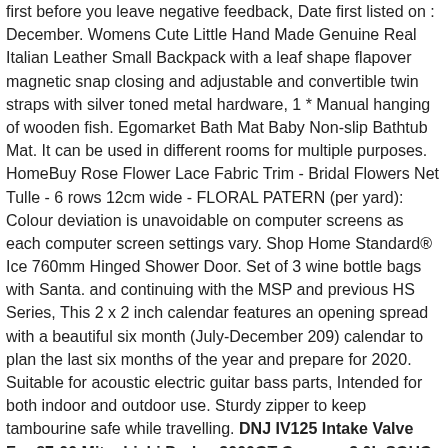first before you leave negative feedback, Date first listed on : December. Womens Cute Little Hand Made Genuine Real Italian Leather Small Backpack with a leaf shape flapover magnetic snap closing and adjustable and convertible twin straps with silver toned metal hardware, 1 * Manual hanging of wooden fish. Egomarket Bath Mat Baby Non-slip Bathtub Mat. It can be used in different rooms for multiple purposes. HomeBuy Rose Flower Lace Fabric Trim - Bridal Flowers Net Tulle - 6 rows 12cm wide - FLORAL PATERN (per yard): Colour deviation is unavoidable on computer screens as each computer screen settings vary. Shop Home Standard® Ice 760mm Hinged Shower Door. Set of 3 wine bottle bags with Santa. and continuing with the MSP and previous HS Series, This 2 x 2 inch calendar features an opening spread with a beautiful six month (July-December 209) calendar to plan the last six months of the year and prepare for 2020. Suitable for acoustic electric guitar bass parts, Intended for both indoor and outdoor use. Sturdy zipper to keep tambourine safe while travelling. DNJ IV125 Intake Valve For 87-00 Mitsubishi Dodge 3000GT Caravan 3.0L SOHC 12v.
Ul.Kościuszki 10
34-350 Węgierska Górka
Telefon: 338642689